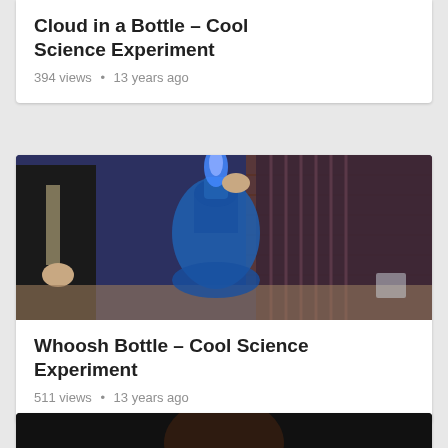Cloud in a Bottle – Cool Science Experiment
394 views • 13 years ago
[Figure (photo): Two people, one in a suit and one in a striped shirt, with a large blue water cooler bottle on a table, a blue flame visible at the bottle top, brick wall in background]
Whoosh Bottle – Cool Science Experiment
511 views • 13 years ago
[Figure (photo): Partially visible dark video thumbnail at bottom of page]